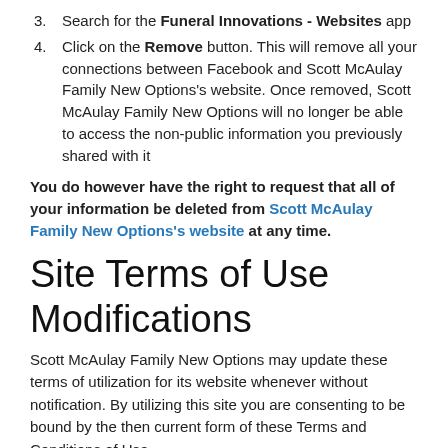3. Search for the Funeral Innovations - Websites app
4. Click on the Remove button. This will remove all your connections between Facebook and Scott McAulay Family New Options's website. Once removed, Scott McAulay Family New Options will no longer be able to access the non-public information you previously shared with it
You do however have the right to request that all of your information be deleted from Scott McAulay Family New Options's website at any time.
Site Terms of Use Modifications
Scott McAulay Family New Options may update these terms of utilization for its website whenever without notification. By utilizing this site you are consenting to be bound by the then current form of these Terms and Conditions of Use.
Privacy Policy
Your privacy is critical to us. Likewise, we have built up this Policy